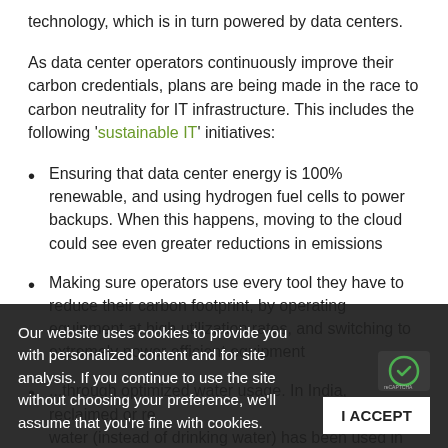technology, which is in turn powered by data centers.
As data center operators continuously improve their carbon credentials, plans are being made in the race to carbon neutrality for IT infrastructure. This includes the following 'sustainable IT' initiatives:
Ensuring that data center energy is 100% renewable, and using hydrogen fuel cells to power backups. When this happens, moving to the cloud could see even greater reductions in emissions
Making sure operators use every tool they have to reduce their carbon footprint, by operating equipment at high utilization rates, and switching to extremely power efficient equipment
...through optimized water usage. In India, reclaimed or re water (instead of drinking water) has been used in regions, in concert with close monitoring of temperature
Our website uses cookies to provide you with personalized content and for site analysis. If you continue to use the site without choosing your preference, we'll assume that you're fine with cookies.